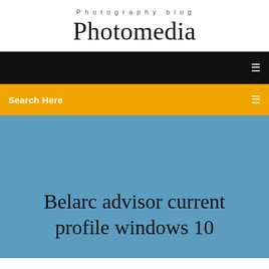Photography blog
Photomedia
[Figure (screenshot): Black navigation bar with a small white menu icon on the right]
Search Here
Belarc advisor current profile windows 10